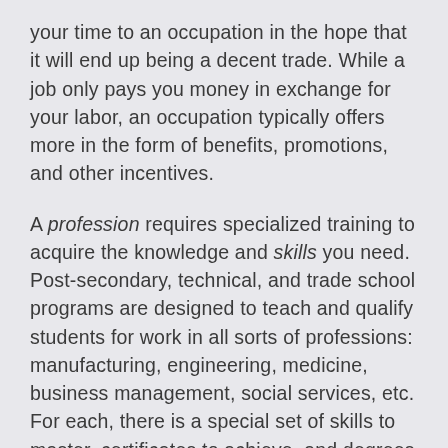your time to an occupation in the hope that it will end up being a decent trade. While a job only pays you money in exchange for your labor, an occupation typically offers more in the form of benefits, promotions, and other incentives.
A profession requires specialized training to acquire the knowledge and skills you need. Post-secondary, technical, and trade school programs are designed to teach and qualify students for work in all sorts of professions: manufacturing, engineering, medicine, business management, social services, etc. For each, there is a special set of skills to master, certificates to achieve, and degrees to earn. As a successful graduate, you hope to find work in the profession for